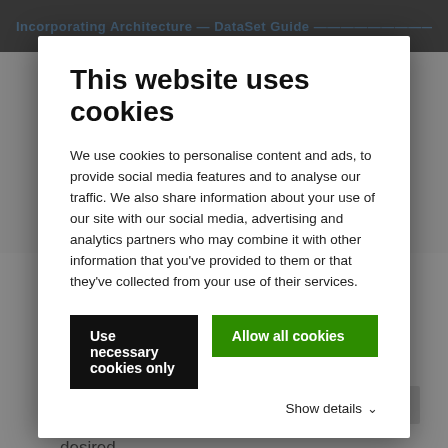Incorporating Architecture DataSet Guide
This website uses cookies
We use cookies to personalise content and ads, to provide social media features and to analyse our traffic. We also share information about your use of our site with our social media, advertising and analytics partners who may combine it with other information that you've provided to them or that they've collected from your use of their services.
Use necessary cookies only
Allow all cookies
Show details
analyses and geometric allowances were performed in colored panoramic views. Perspectives could be freely selected and partial areas of the model could be hidd desired.